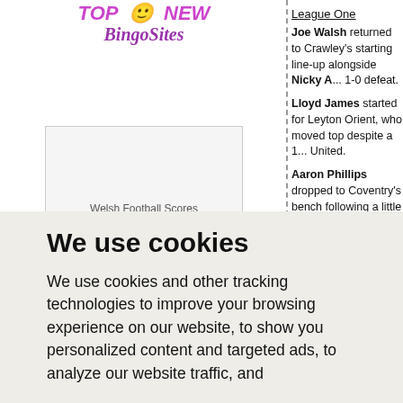[Figure (logo): TOP NEW BingoSites logo in pink/purple italic text with a smiley face icon]
[Figure (photo): Welsh Football Scores image placeholder box]
[Figure (other): Betting Sites advertisement - teal box with italic white text 'betting SITES' and red bar below]
League One
Joe Walsh returned to Crawley's starting line-up alongside Nicky A... 1-0 defeat.
Lloyd James started for Leyton Orient, who moved top despite a 1... United.
Aaron Phillips dropped to Coventry's bench following a little issue... 90th minute substitute appearance as his side beat MK Dons 3-1 awa...
Charlton loanee Morgan Fox made his Notts County debut as a 68... Fellow loanee Kieron Freeman (from Derby County) started the mat... Brentford achieving a 1-0 win.
Sam Ricketts and Dave Edwards kept their places in Wolves' st... second place after losing 1-0 at Peterborough. Wayne Hennessey a... this season and was am unused sub, but there was a ten-minute run-
Craig Morgan was on the winning side as Rotherham beat Gillingha...
Michael Doughty started his tenth consecutive match for Stevena... found himself on the losing side as Stevenage lost 3-1 at home to...
We use cookies
We use cookies and other tracking technologies to improve your browsing experience on our website, to show you personalized content and targeted ads, to analyze our website traffic, and